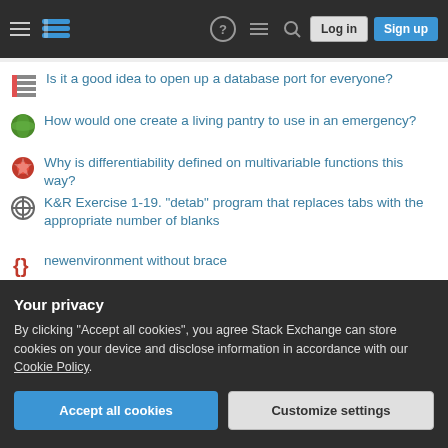Stack Exchange navigation bar with hamburger menu, logo, help, chat, search, Log in, Sign up buttons
Is it a good idea to open up a database port for everyone?
How would one create a living pantry to use in an emergency?
Why is differentiability defined on multivariable functions this way?
K&R Exercise 1-19. "detab" program that replaces tabs with the appropriate number of blanks
newenvironment without brace
Can you prove that proof-by-induction is invalid for the real interval [0, 1]?
Disable Apple ID signup popup in Macos
Committing to a database to the ledger without storing it on the
Your privacy
By clicking "Accept all cookies", you agree Stack Exchange can store cookies on your device and disclose information in accordance with our Cookie Policy.
Accept all cookies   Customize settings